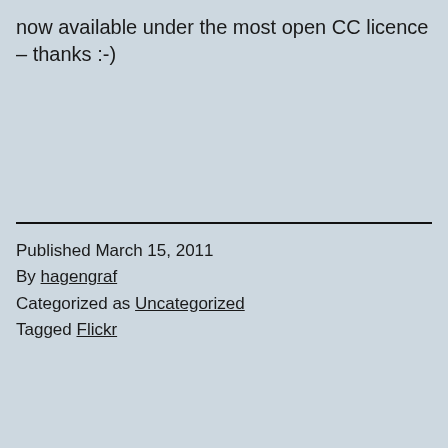now available under the most open CC licence – thanks :-)
Published March 15, 2011
By hagengraf
Categorized as Uncategorized
Tagged Flickr